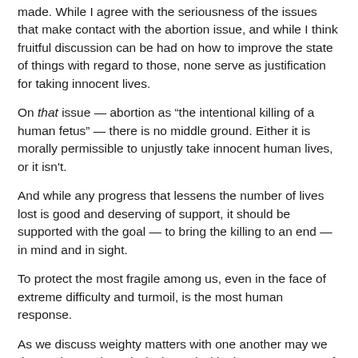made. While I agree with the seriousness of the issues that make contact with the abortion issue, and while I think fruitful discussion can be had on how to improve the state of things with regard to those, none serve as justification for taking innocent lives.
On that issue — abortion as “the intentional killing of a human fetus” — there is no middle ground. Either it is morally permissible to unjustly take innocent human lives, or it isn't.
And while any progress that lessens the number of lives lost is good and deserving of support, it should be supported with the goal — to bring the killing to an end — in mind and in sight.
To protect the most fragile among us, even in the face of extreme difficulty and turmoil, is the most human response.
As we discuss weighty matters with one another may we do so winsomely and wisely; and with sharp awareness of exactly what it is we're discussing.